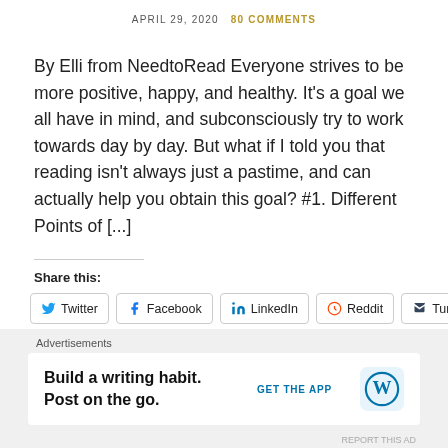APRIL 29, 2020   80 COMMENTS
By Elli from NeedtoRead Everyone strives to be more positive, happy, and healthy. It's a goal we all have in mind, and subconsciously try to work towards day by day. But what if I told you that reading isn't always just a pastime, and can actually help you obtain this goal? #1. Different Points of [...]
Share this:
Twitter  Facebook  LinkedIn  Reddit  Tumblr
Advertisements
Build a writing habit. Post on the go.
GET THE APP